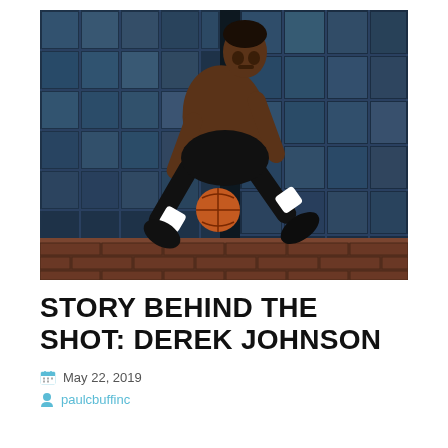[Figure (photo): A young shirtless male basketball player mid-air, dribbling a basketball, wearing black shorts, white Nike socks and black shoes. Background shows a dark industrial building with large grid windows. Action sports photography.]
STORY BEHIND THE SHOT: DEREK JOHNSON
May 22, 2019
paulcbuffinc